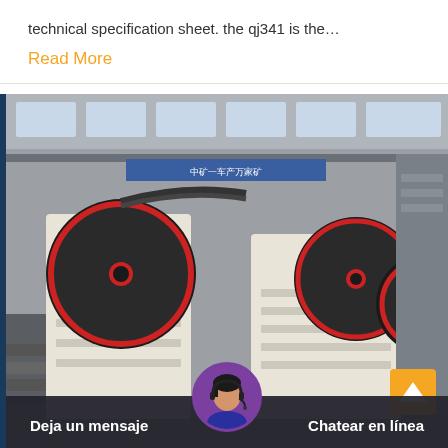technical specification sheet. the qj341 is the…
Read More
[Figure (photo): Industrial jaw crusher machines photographed in a factory setting, showing two large white jaw crusher units with prominent red and black flywheels, situated in a large industrial hall with Chinese signage in the background.]
Deja un mensaje
Chatear en línea